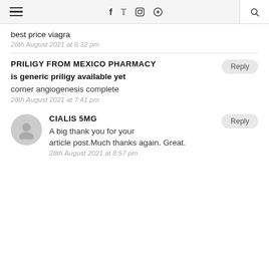≡  f  t  instagram  pinterest  search
best price viagra
28th August 2021 at 6:32 pm
PRILIGY FROM MEXICO PHARMACY
is generic priligy available yet
corner angiogenesis complete
28th August 2021 at 7:41 pm
CIALIS 5MG
A big thank you for your article post.Much thanks again. Great.
28th August 2021 at 8:57 pm